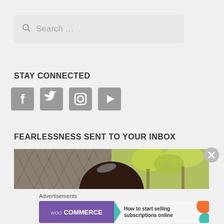[Figure (screenshot): Search bar with magnifying glass icon and placeholder text 'Search ...']
STAY CONNECTED
[Figure (illustration): Social media icons: Facebook, Twitter, Instagram, YouTube]
FEARLESSNESS SENT TO YOUR INBOX
[Figure (photo): Photo showing a person's head of dark hair with a chain-link fence background on the left and yellow-green trees on the right]
Advertisements
[Figure (other): WooCommerce advertisement banner: 'How to start selling subscriptions online']